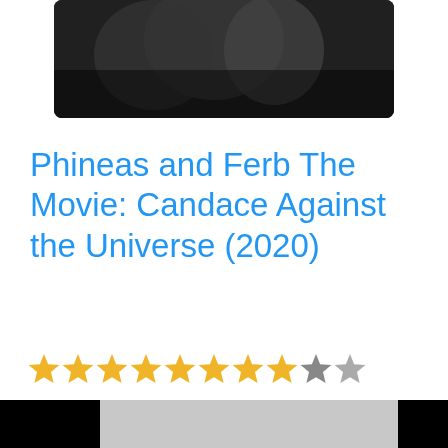[Figure (photo): Dark medieval/knight themed movie banner image with text 'Movies about knights' overlaid at the bottom]
Phineas and Ferb The Movie: Candace Against the Universe (2020)
[Figure (infographic): Star rating showing 8 filled golden stars and 2 dark/unfilled stars out of 10]
[Figure (screenshot): Video player with black bars on left and right, gray center area with a circular play button]